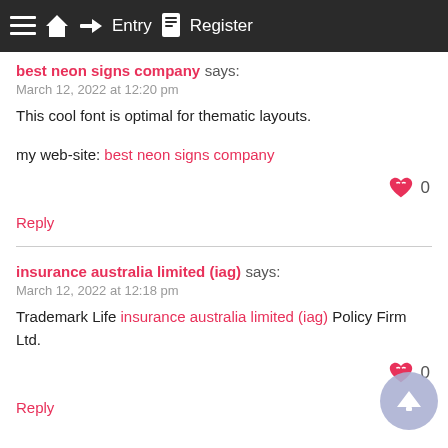≡ 🏠 → Entry 📋 Register
best neon signs company says:
March 12, 2022 at 12:20 pm
This cool font is optimal for thematic layouts.

my web-site: best neon signs company
0
Reply
insurance australia limited (iag) says:
March 12, 2022 at 12:18 pm
Trademark Life insurance australia limited (iag) Policy Firm Ltd.
0
Reply